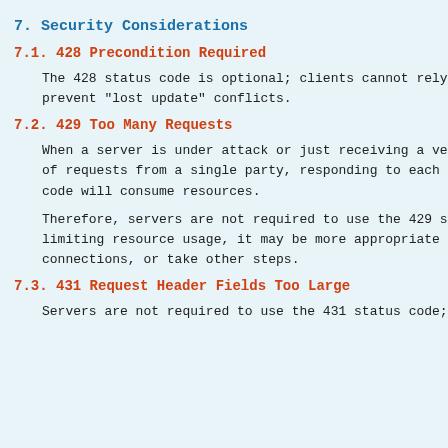7.  Security Considerations
7.1.  428 Precondition Required
The 428 status code is optional; clients cannot rely prevent "lost update" conflicts.
7.2.  429 Too Many Requests
When a server is under attack or just receiving a ve of requests from a single party, responding to each code will consume resources.
Therefore, servers are not required to use the 429 s limiting resource usage, it may be more appropriate connections, or take other steps.
7.3.  431 Request Header Fields Too Large
Servers are not required to use the 431 status code;